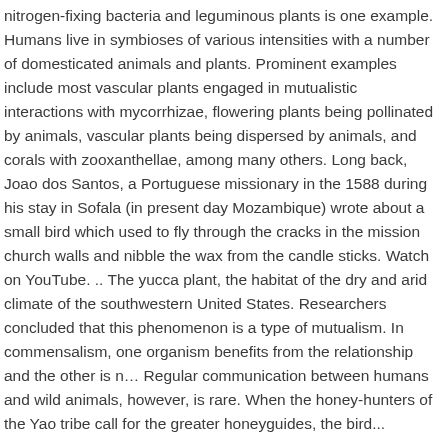nitrogen-fixing bacteria and leguminous plants is one example. Humans live in symbioses of various intensities with a number of domesticated animals and plants. Prominent examples include most vascular plants engaged in mutualistic interactions with mycorrhizae, flowering plants being pollinated by animals, vascular plants being dispersed by animals, and corals with zooxanthellae, among many others. Long back, Joao dos Santos, a Portuguese missionary in the 1588 during his stay in Sofala (in present day Mozambique) wrote about a small bird which used to fly through the cracks in the mission church walls and nibble the wax from the candle sticks. Watch on YouTube. .. The yucca plant, the habitat of the dry and arid climate of the southwestern United States. Researchers concluded that this phenomenon is a type of mutualism. In commensalism, one organism benefits from the relationship and the other is n… Regular communication between humans and wild animals, however, is rare. When the honey-hunters of the Yao tribe call for the greater honeyguides, the bird...